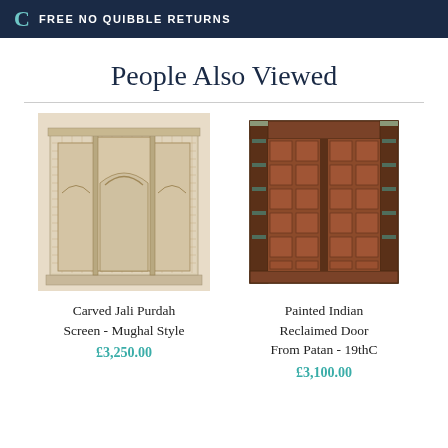FREE NO QUIBBLE RETURNS
People Also Viewed
[Figure (photo): Carved Jali Purdah Screen - Mughal Style, an ornate whitewashed wooden screen with intricate lattice carvings and arched panels]
Carved Jali Purdah Screen - Mughal Style
£3,250.00
[Figure (photo): Painted Indian Reclaimed Door From Patan - 19thC, a dark reddish-brown antique wooden door with grid panel design and decorative columns]
Painted Indian Reclaimed Door From Patan - 19thC
£3,100.00